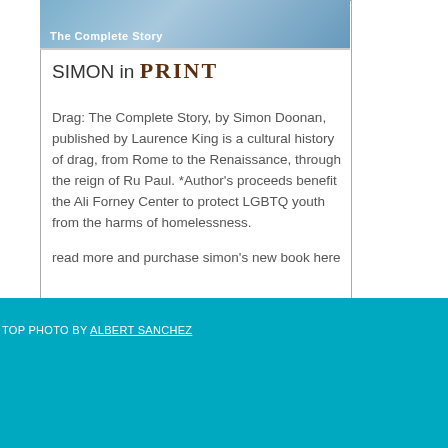[Figure (photo): Top portion of a book cover for 'Drag: The Complete Story' with blue gradient background and white subtitle text]
SIMON in PRINT
Drag: The Complete Story, by Simon Doonan, published by Laurence King is a cultural history of drag, from Rome to the Renaissance, through the reign of Ru Paul. *Author's proceeds benefit the Ali Forney Center to protect LGBTQ youth from the harms of homelessness.
read more and purchase simon's new book here
TOP PHOTO BY ALBERT SANCHEZ